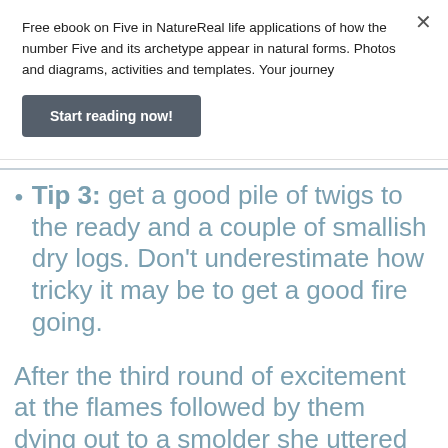Free ebook on Five in NatureReal life applications of how the number Five and its archetype appear in natural forms. Photos and diagrams, activities and templates. Your journey
Start reading now!
Tip 3: get a good pile of twigs to the ready and a couple of smallish dry logs. Don't underestimate how tricky it may be to get a good fire going.
After the third round of excitement at the flames followed by them dying out to a smolder she uttered the immortal